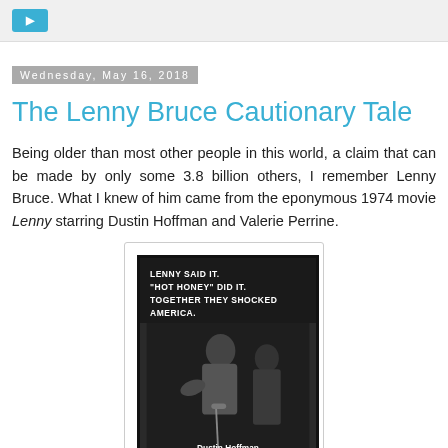Wednesday, May 16, 2018
The Lenny Bruce Cautionary Tale
Being older than most other people in this world, a claim that can be made by only some 3.8 billion others, I remember Lenny Bruce. What I knew of him came from the eponymous 1974 movie Lenny starring Dustin Hoffman and Valerie Perrine.
[Figure (photo): Black and white movie poster for the 1974 film 'Lenny' starring Dustin Hoffman. Tagline reads: LENNY SAID IT. "HOT HONEY" DID IT. TOGETHER THEY SHOCKED AMERICA. Shows Dustin Hoffman and a woman. Bottom text: Dustin Hoffman "Lenny"]